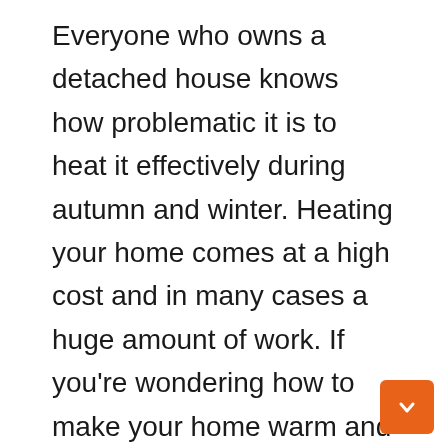Everyone who owns a detached house knows how problematic it is to heat it effectively during autumn and winter. Heating your home comes at a high cost and in many cases a huge amount of work. If you're wondering how to make your home warm and your bills lower, you should consider insulating exterior walls that are great at keeping heat inside a building. Thanks to the insulation of external walls, heat does not escape through unprotected walls and bills become lower due to the fact that we do not need to heat our house as often as before. Insulation of external walls ultimately allows its owners to save a lot of money that will fund home budget. It should be remembered that for the insulation of external wallsto fulfill its task